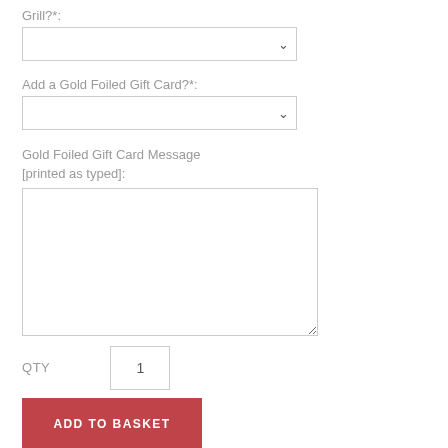Grill?*:
[Figure (screenshot): Dropdown select box for Grill option]
Add a Gold Foiled Gift Card?*:
[Figure (screenshot): Dropdown select box for Add a Gold Foiled Gift Card option]
Gold Foiled Gift Card Message [printed as typed]:
[Figure (screenshot): Large textarea for Gold Foiled Gift Card Message]
QTY
[Figure (screenshot): Quantity input box showing value 1]
ADD TO BASKET
This solid steel personalised fire pit slots together in seconds